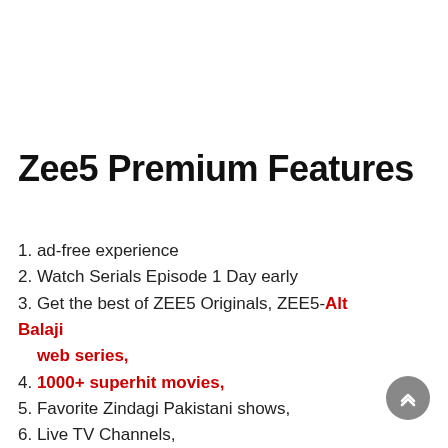Zee5 Premium Features
1. ad-free experience
2. Watch Serials Episode 1 Day early
3. Get the best of ZEE5 Originals, ZEE5-Alt Balaji web series,
4. 1000+ superhit movies,
5. Favorite Zindagi Pakistani shows,
6. Live TV Channels,
7. Kids Entertainment & Latest News.